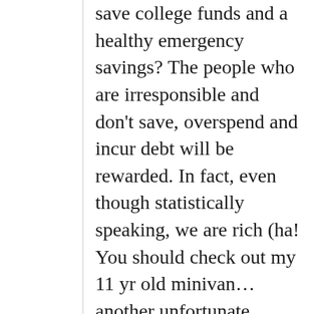save college funds and a healthy emergency savings? The people who are irresponsible and don't save, overspend and incur debt will be rewarded. In fact, even though statistically speaking, we are rich (ha! You should check out my 11 yr old minivan…another unfortunate responsible choice, had I been smart and bought a new Cadillac Escalade every 5 yrs I'd probably be getting some nice financial aid now) we cannot sent our children to anything but our state schools because we cannot afford out of state tuitions. Even the public schools often range